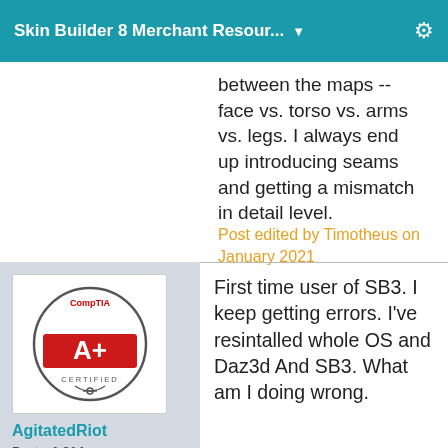Skin Builder 8 Merchant Resour...
between the maps -- face vs. torso vs. arms vs. legs. I always end up introducing seams and getting a mismatch in detail level.
Post edited by Timotheus on January 2021
[Figure (logo): CompTIA A+ Certified badge logo]
AgitatedRiot
Posts: 1,914
January 2021
[Figure (illustration): Small hexagonal colorful icon]
First time user of SB3. I keep getting errors. I've resintalled whole OS and Daz3d And SB3. What am I doing wrong.